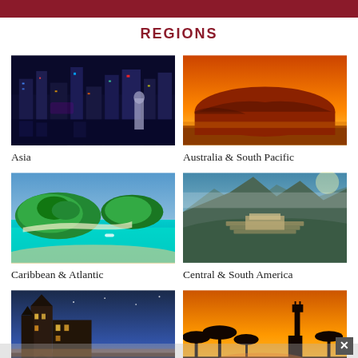REGIONS
[Figure (photo): Night cityscape of Asia with illuminated skyscrapers and lights reflecting on water]
Asia
[Figure (photo): Uluru (Ayers Rock) at sunset with orange sky in Australia]
Australia & South Pacific
[Figure (photo): Turquoise water and tropical islands aerial view - Caribbean]
Caribbean & Atlantic
[Figure (photo): Machu Picchu ruins with mountain peaks - Central & South America]
Central & South America
[Figure (photo): Gothic European castle illuminated at dusk with bridge reflection]
Europe
[Figure (photo): African savanna at sunset with giraffe silhouette and orange sky]
Middle East & Africa